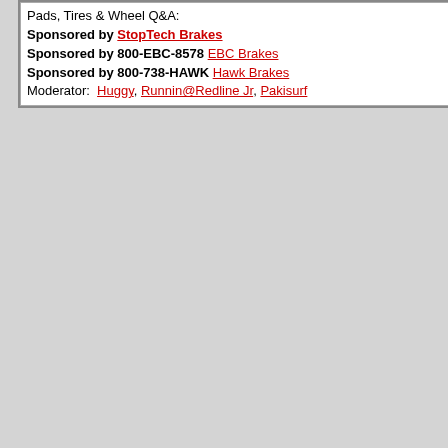| Topic |  |  | Date |
| --- | --- | --- | --- |
| Pads, Tires & Wheel Q&A:
Sponsored by StopTech Brakes
Sponsored by 800-EBC-8578 EBC Brakes
Sponsored by 800-738-HAWK Hawk Brakes
Moderator: Huggy, Runnin@Redline Jr, Pakisurf |  |  | 03/05/19
09:30 PM |
Brake K...
Buy Bra...
EBC Br...
EBC Bra...
BuyBra...
Brake K...
Rotors S...
StopTec...
StopTec...
StopTec...
StopTec...
StopTec...
StopTec...
Hawk B...
Hawk Br...
Samys ...
GoPros, Gear
Brake S... Me
Brake S... Me
Brake P...
Coupon... "hondafe...
Porsche...
Porsche...
Upgrade...